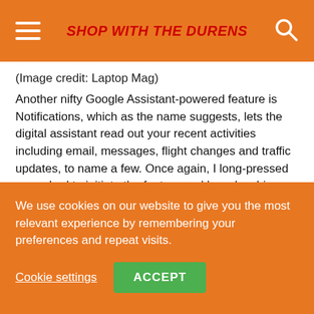SHOP WITH THE DURENS
(Image credit: Laptop Mag)
Another nifty Google Assistant-powered feature is Notifications, which as the name suggests, lets the digital assistant read out your recent activities including email, messages, flight changes and traffic updates, to name a few. Once again, I long-pressed an earbud to initiate the feature and heard a chime then the assistant began reading the latest text messages starting with an email. After announcing...
We use cookies on our website to give you the most relevant experience by remembering your preferences and repeat visits.
Cookie settings
ACCEPT